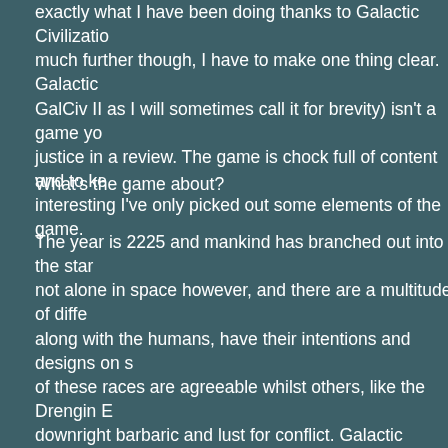exactly what I have been doing thanks to Galactic Civilization much further though, I have to make one thing clear. Galactic GalCiv II as I will sometimes call it for brevity) isn't a game yo justice in a review. The game is chock full of content and to ke interesting I've only picked out some elements of the game.
What's the game about?
The year is 2225 and mankind has branched out into the star not alone in space however, and there are a multitude of diffe along with the humans, have their intentions and designs on s of these races are agreeable whilst others, like the Drengin E downright barbaric and lust for conflict. Galactic Civilizations gives you the opportunity to control one of 10 different races ( own race) and through conflict, economic success or diploma claim victory over your rivals. The game is a huge, sprawling game (of the 4X style) where you can create your own skirmis from a multitude of variables) or you can jump straight into the the campaign is fairly good it's the skirmish (selecting New Ga menu) mode that's worth its weight in gold.